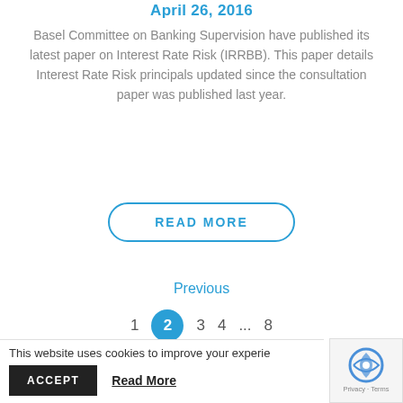April 26, 2016
Basel Committee on Banking Supervision have published its latest paper on Interest Rate Risk (IRRBB). This paper details Interest Rate Risk principals updated since the consultation paper was published last year.
READ MORE
Previous
1  2  3  4  ...  8
This website uses cookies to improve your experie
ACCEPT
Read More